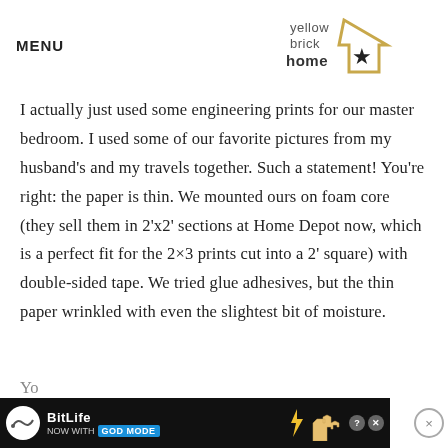MENU | yellow brick home logo
I actually just used some engineering prints for our master bedroom. I used some of our favorite pictures from my husband's and my travels together. Such a statement! You're right: the paper is thin. We mounted ours on foam core (they sell them in 2'x2' sections at Home Depot now, which is a perfect fit for the 2×3 prints cut into a 2' square) with double-sided tape. We tried glue adhesives, but the thin paper wrinkled with even the slightest bit of moisture.
[Figure (infographic): BitLife advertisement banner: 'NOW WITH GOD MODE' with hand pointing graphic, help and close buttons]